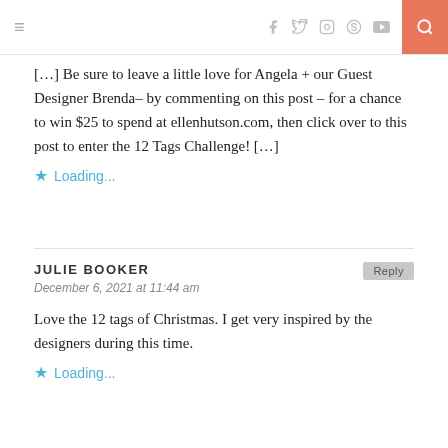≡  f  ✦  ◎  ℗  ▶  🔍
[…] Be sure to leave a little love for Angela + our Guest Designer Brenda– by commenting on this post – for a chance to win $25 to spend at ellenhutson.com, then click over to this post to enter the 12 Tags Challenge! […]
★ Loading…
JULIE BOOKER
December 6, 2021 at 11:44 am
Love the 12 tags of Christmas. I get very inspired by the designers during this time.
★ Loading…